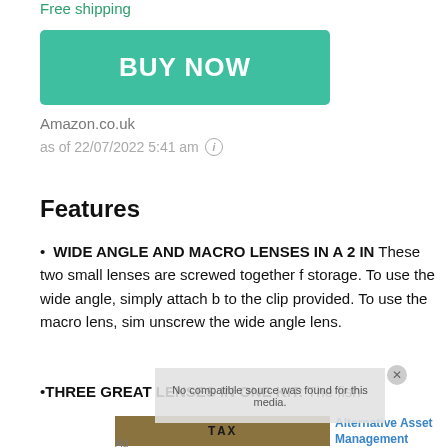Free shipping
[Figure (other): Teal/green BUY NOW button]
Amazon.co.uk
as of 22/07/2022 5:41 am (i)
Features
WIDE ANGLE AND MACRO LENSES IN A 2 IN 1: These two small lenses are screwed together for storage. To use the wide angle, simply attach both to the clip provided. To use the macro lens, simply unscrew the wide angle lens.
THREE GREAT LENSES IN ONE KIT: The fish...
[Figure (photo): Advertisement image showing TAX blocks with money, labelled Alternative Asset Management]
Ad